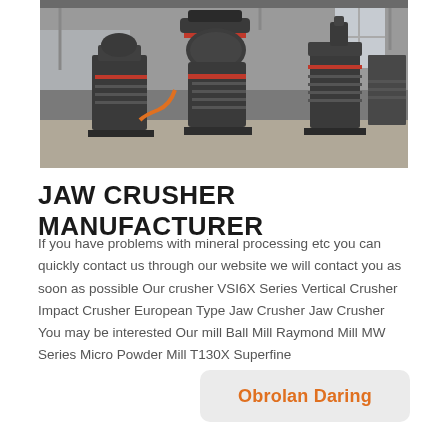[Figure (photo): Industrial jaw crusher machines and vertical crusher equipment on a factory floor. Large dark grey machinery including a conical crusher in the center, with additional equipment visible in the background of a warehouse setting.]
JAW CRUSHER MANUFACTURER
If you have problems with mineral processing etc you can quickly contact us through our website we will contact you as soon as possible Our crusher VSI6X Series Vertical Crusher Impact Crusher European Type Jaw Crusher Jaw Crusher You may be interested Our mill Ball Mill Raymond Mill MW Series Micro Powder Mill T130X Superfine
Obrolan Daring